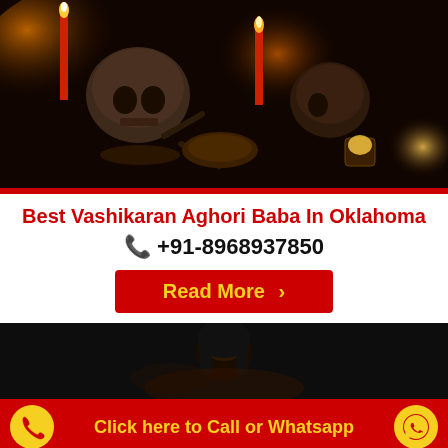[Figure (photo): Dark occult scene with two skulls, bones, candles burning, and ritual objects on a dark surface]
Best Vashikaran Aghori Baba In Oklahoma
📞 +91-8968937850
Read More ›
[Figure (photo): Dark image of a person with long dark hair in a low-lit environment]
Click here to Call or Whatsapp